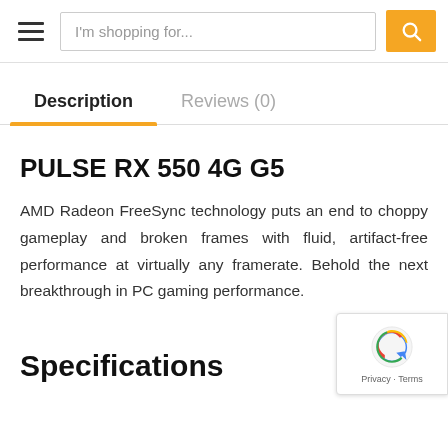I'm shopping for...
Description | Reviews (0)
PULSE RX 550 4G G5
AMD Radeon FreeSync technology puts an end to choppy gameplay and broken frames with fluid, artifact-free performance at virtually any framerate. Behold the next breakthrough in PC gaming performance.
Specifications